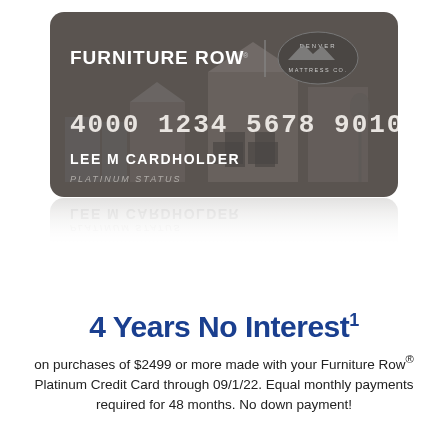[Figure (illustration): Furniture Row Platinum Credit Card showing card number 4000 1234 5678 9010, cardholder name LEE M CARDHOLDER, PLATINUM STATUS, with Furniture Row and Denver Mattress Co. logos. Card has a dark gray design with building silhouettes. A reflection of the card appears below it.]
4 Years No Interest¹
on purchases of $2499 or more made with your Furniture Row® Platinum Credit Card through 09/1/22. Equal monthly payments required for 48 months. No down payment!